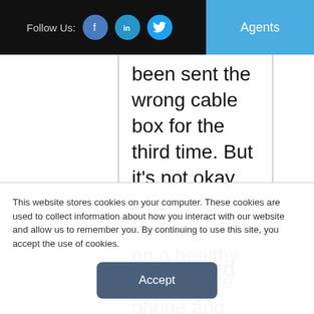Follow Us:  [Facebook] [LinkedIn] [Twitter]  Agents
been sent the wrong cable box for the third time. But it's not okay when your business relies on a healthy and reliable phone and internet connection.
Dedicated Internet
This website stores cookies on your computer. These cookies are used to collect information about how you interact with our website and allow us to remember you. By continuing to use this site, you accept the use of cookies.
Accept